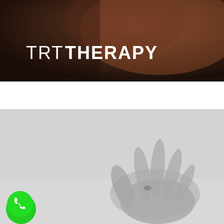[Figure (photo): Dark-toned close-up photo of an elderly man with text overlay 'TRT THERAPY' in white font, TRT in thin weight and THERAPY in bold weight]
[Figure (photo): Grayscale photo of a hand holding a small pill or tablet, with a green phone/call button icon in the bottom-left corner]